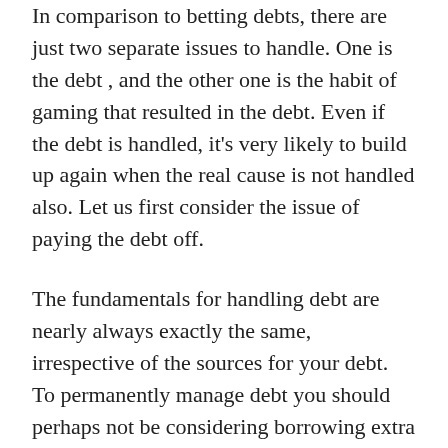In comparison to betting debts, there are just two separate issues to handle. One is the debt , and the other one is the habit of gaming that resulted in the debt. Even if the debt is handled, it's very likely to build up again when the real cause is not handled also. Let us first consider the issue of paying the debt off.
The fundamentals for handling debt are nearly always exactly the same, irrespective of the sources for your debt. To permanently manage debt you should perhaps not be considering borrowing extra cash or paying anyone to deal with the financial troubles to you. These types of action are very likely to deepen the own debt in the future.
With a small information, it is possible to deal with